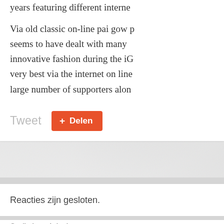years featuring different internet
Via old classic on-line pai gow p seems to have dealt with many innovative fashion during the iG very best via the internet on line large number of supporters alon
Tweet
Delen
Reacties zijn gesloten.
© Klimit - Hét leukste touwenparcours